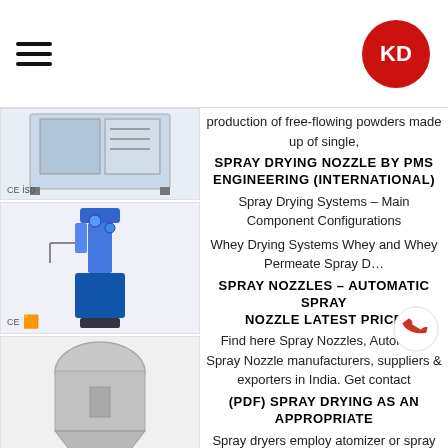KD logo and hamburger menu
[Figure (photo): Industrial spray drying machine with metal frame and tubing]
[Figure (photo): Blue laboratory spray drying nozzle/reactor equipment on stand]
[Figure (photo): Stainless steel industrial spray dryer tower on wheels]
[Figure (photo): Teal/blue box-shaped laboratory drying machine with gauges]
production of free-flowing powders made up of single,
SPRAY DRYING NOZZLE BY PMS ENGINEERING (INTERNATIONAL)
Spray Drying Systems – Main Component Configurations
Whey Drying Systems Whey and Whey Permeate Spray D…
SPRAY NOZZLES – AUTOMATIC SPRAY NOZZLE LATEST PRICE
Find here Spray Nozzles, Automatic Spray Nozzle manufacturers, suppliers & exporters in India. Get contact
(PDF) SPRAY DRYING AS AN APPROPRIATE
Spray dryers employ atomizer or spray nozzle to disperse the liquid…